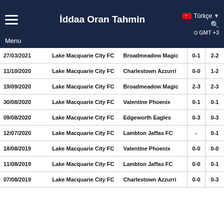İddaa Oran Tahmin — Menu — Türkçe — GMT +3
| Date | Home | Away | HT | FT |
| --- | --- | --- | --- | --- |
| 27/03/2021 | Lake Macquarie City FC | Broadmeadow Magic | 0-1 | 2-2 |
| 11/10/2020 | Lake Macquarie City FC | Charlestown Azzurri | 0-0 | 1-2 |
| 19/09/2020 | Lake Macquarie City FC | Broadmeadow Magic | 2-3 | 2-3 |
| 30/08/2020 | Lake Macquarie City FC | Valentine Phoenix | 0-1 | 0-1 |
| 09/08/2020 | Lake Macquarie City FC | Edgeworth Eagles | 0-3 | 0-3 |
| 12/07/2020 | Lake Macquarie City FC | Lambton Jaffas FC | - | 0-1 |
| 18/08/2019 | Lake Macquarie City FC | Valentine Phoenix | 0-0 | 0-0 |
| 11/08/2019 | Lake Macquarie City FC | Lambton Jaffas FC | 0-0 | 0-1 |
| 07/08/2019 | Lake Macquarie City FC | Charlestown Azzurri | 0-0 | 0-3 |